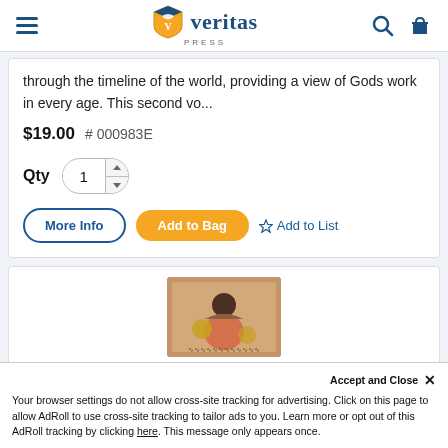veritas PRESS
through the timeline of the world, providing a view of Gods work in every age. This second vo...
$19.00  # 000983E
Qty  1
More Info  Add to Bag  Add to List
[Figure (illustration): Partial view of a book cover with illustrated artwork showing a child figure]
Accept and Close ×
Your browser settings do not allow cross-site tracking for advertising. Click on this page to allow AdRoll to use cross-site tracking to tailor ads to you. Learn more or opt out of this AdRoll tracking by clicking here. This message only appears once.